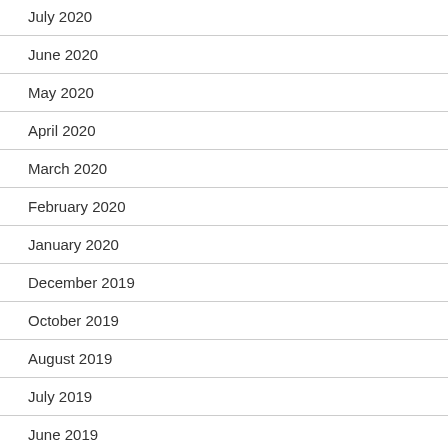July 2020
June 2020
May 2020
April 2020
March 2020
February 2020
January 2020
December 2019
October 2019
August 2019
July 2019
June 2019
May 2019